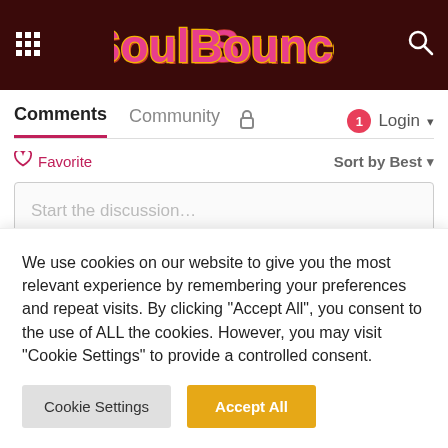[Figure (logo): SoulBounce website logo with pink/red retro lettering on dark brown header bar, with grid icon left and search icon right]
Comments  Community  🔒  1  Login
♡ Favorite   Sort by Best ▾
Start the discussion…
LOG IN WITH
[Figure (illustration): Four social login icons: Disqus (D, blue), Facebook (f, dark blue), Twitter (bird, light blue), Google (G, red)]
We use cookies on our website to give you the most relevant experience by remembering your preferences and repeat visits. By clicking "Accept All", you consent to the use of ALL the cookies. However, you may visit "Cookie Settings" to provide a controlled consent.
Cookie Settings    Accept All